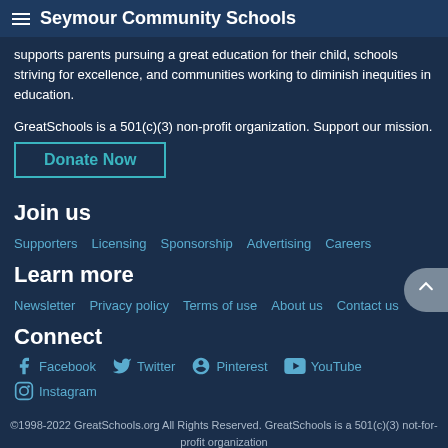Seymour Community Schools
supports parents pursuing a great education for their child, schools striving for excellence, and communities working to diminish inequities in education.
GreatSchools is a 501(c)(3) non-profit organization. Support our mission.
Donate Now
Join us
Supporters
Licensing
Sponsorship
Advertising
Careers
Learn more
Newsletter
Privacy policy
Terms of use
About us
Contact us
Connect
Facebook
Twitter
Pinterest
YouTube
Instagram
©1998-2022 GreatSchools.org All Rights Reserved. GreatSchools is a 501(c)(3) not-for-profit organization